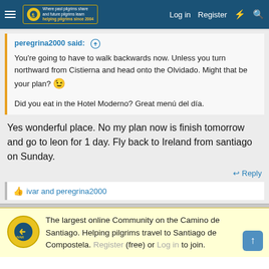Forum navigation bar with hamburger menu, logo, Log in, Register, and search icons
peregrina2000 said: ↑

You're going to have to walk backwards now. Unless you turn northward from Cistierna and head onto the Olvidado. Might that be your plan? 😉

Did you eat in the Hotel Moderno? Great menú del día.
Yes wonderful place. No my plan now is finish tomorrow and go to leon for 1 day. Fly back to Ireland from santiago on Sunday.
↩ Reply
👍 ivar and peregrina2000
The largest online Community on the Camino de Santiago. Helping pilgrims travel to Santiago de Compostela. Register (free) or Log in to join.